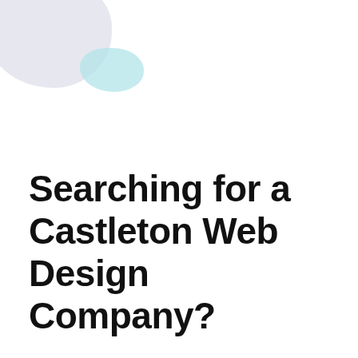[Figure (illustration): Two decorative abstract blob shapes in the upper left corner — a larger lavender/grey blob and a smaller teal/light-blue blob overlapping below it.]
Searching for a Castleton Web Design Company?
Look no further. Exceedion is a full-service Castleton Web Design Company that's ready to help your business grow. We've been working with Castleton area corporations, nonprofits and small businesses since 2004. Exceedion's highly